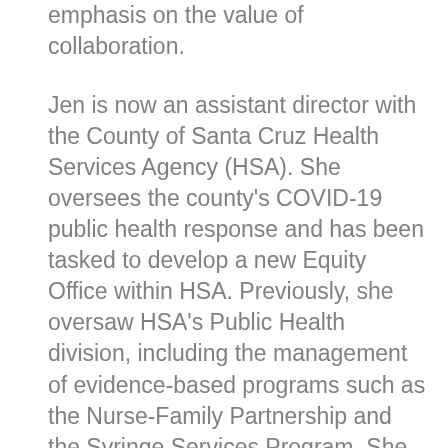emphasis on the value of collaboration.
Jen is now an assistant director with the County of Santa Cruz Health Services Agency (HSA). She oversees the county's COVID-19 public health response and has been tasked to develop a new Equity Office within HSA. Previously, she oversaw HSA's Public Health division, including the management of evidence-based programs such as the Nurse-Family Partnership and the Syringe Services Program. She recognizes that the success of her work has been dependent on strong collaboration with individuals and organizations. Being part of a collective dedicated to creating healthier communities has brought her much personal fulfillment.